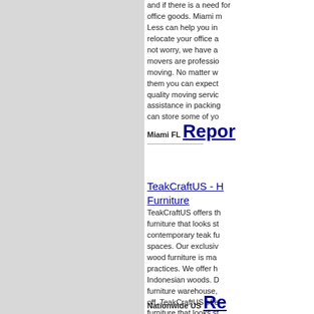and if there is a need for office goods. Miami m Less can help you in relocate your office a not worry, we have a movers are professio moving. No matter w them you can expec quality moving servic assistance in packing can store some of yo
Miami FL Report
TeakCraftUS - H Furniture
TeakCraftUS offers th furniture that looks st contemporary teak fu spaces. Our exclusiv wood furniture is ma practices. We offer h Indonesian woods. D furniture warehouse, off. TeakCraftUS offe furniture that looks st contemporary teak fu spaces. Our exclusiv wood furniture is ma practices. We offer h Indonesian woods. D furniture warehouse, off.
Nationwide US Re